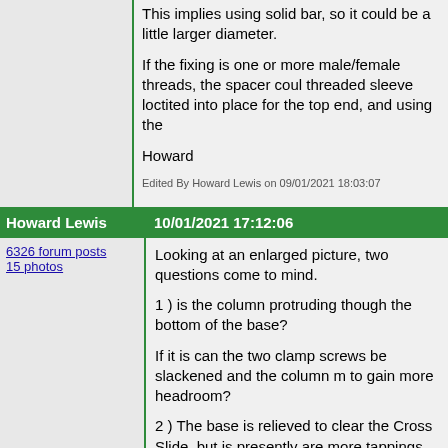This implies using solid bar, so it could be a little larger diameter.

If the fixing is one or more male/female threads, the spacer could be made from bar with a threaded sleeve loctited into place for the top end, and using the

Howard

Edited By Howard Lewis on 09/01/2021 18:03:07
Howard Lewis — 10/01/2021 17:12:06

6326 forum posts
15 photos

Looking at an enlarged picture, two questions come to mind.

1 ) is the column protruding though the bottom of the base?

If it is can the two clamp screws be slackened and the column moved up to gain more headroom?

2 ) The base is relieved to clear the Cross Slide, but is presently are more tappings /location higher on the lathe bed so that the b without fouling the Cross Slide?

If the answer to both questions is "YES", it may be that extra he anything more than adjustment.

Howard
JasonB — 10/01/2021 17:19:46

Someone gave this supplier of tube a mention the other day, th